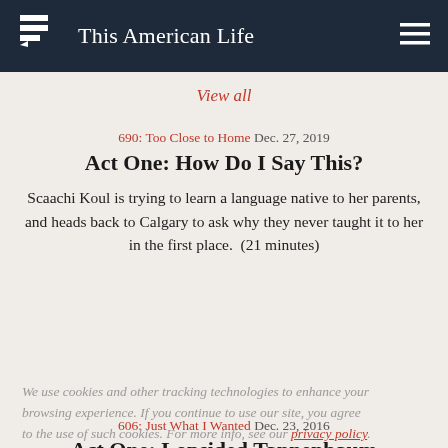This American Life
View all
690: Too Close to Home  Dec. 27, 2019
Act One: How Do I Say This?
Scaachi Koul is trying to learn a language native to her parents, and heads back to Calgary to ask why they never taught it to her in the first place.  (21 minutes)
We use cookies and other tracking technologies to enhance your browsing experience. If you continue to use our site, you agree to the use of such cookies. For more info, see our privacy policy.
606: Just What I Wanted  Dec. 23, 2016
Act One: Lopsided Tannenbaum
A fictional story written and read by Maile Meloy about a family that encounters two peculiar strangers in the snow on Christmas Day.